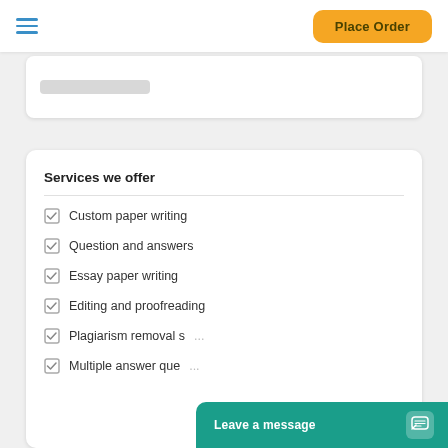Place Order
Services we offer
Custom paper writing
Question and answers
Essay paper writing
Editing and proofreading
Plagiarism removal s...
Multiple answer ques...
Leave a message